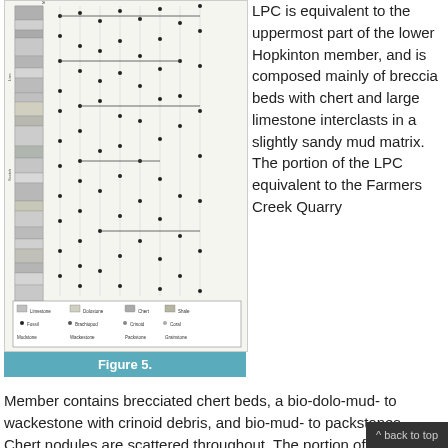[Figure (other): Stratigraphic column diagram (Figure 5) showing rock layers, fossil occurrences, and a legend with lithology symbols for the LPC section including Hopkinton and Scotch Grove Formation members.]
Figure 5.
LPC is equivalent to the uppermost part of the lower Hopkinton member, and is composed mainly of breccia beds with chert and large limestone interclasts in a slightly sandy mud matrix. The portion of the LPC equivalent to the Farmers Creek Quarry Member contains brecciated chert beds, a bio-dolo-mud- to wackestone with crinoid debris, and bio-mud- to packstones. Chert nodules are scattered throughout. The portion of the LPC equivalent to the Picture Rock Member of the Hopkinton Formation is a green, calcareous shale to mudstone, and the remainder are bio-wacke- to packstones. The portion of the LPC equivalent to the BCQ Member of the Scotch Grove Formation is composed of predominantly mudstones with scattered crinoid debris punctuated by occasional bio-wacke- to packstones with crinoid debris and brachiopod fossils. There are some intervals of argillaceous mudstone
^ back to top